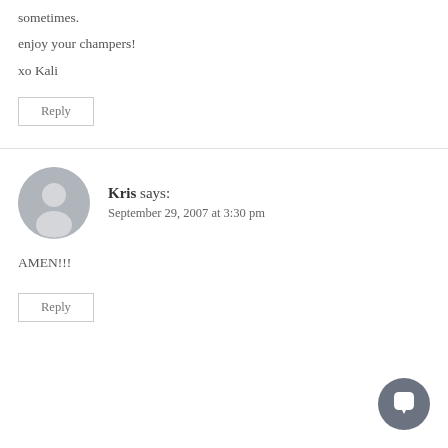sometimes.
enjoy your champers!
xo Kali
Reply
Kris says: September 29, 2007 at 3:30 pm
AMEN!!!
Reply